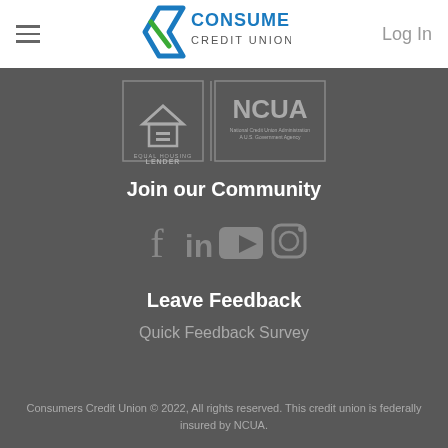Log In
[Figure (logo): Consumers Credit Union logo with blue and green chevron design]
[Figure (logo): Equal Housing Lender badge and NCUA (National Credit Union Administration, U.S. Government Agency) badge]
Join our Community
[Figure (other): Social media icons: Facebook, LinkedIn, YouTube, Instagram]
Leave Feedback
Quick Feedback Survey
Consumers Credit Union © 2022, All rights reserved. This credit union is federally insured by NCUA.